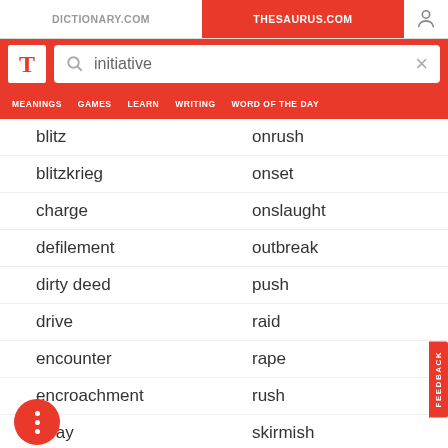DICTIONARY.COM  |  THESAURUS.COM
initiative
blitz  |  onrush
blitzkrieg  |  onset
charge  |  onslaught
defilement  |  outbreak
dirty deed  |  push
drive  |  raid
encounter  |  rape
encroachment  |  rush
foray  |  skirmish